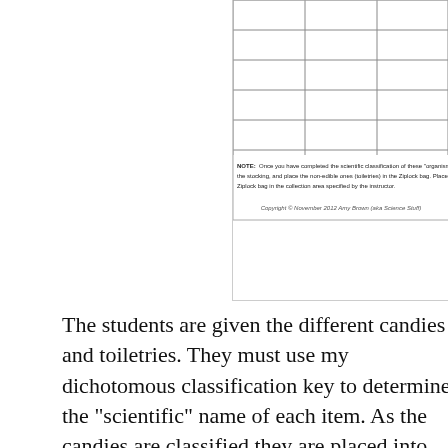[Figure (table-as-image): Partial view of a scientific classification table with empty rows and a NOTE section at the bottom. The NOTE reads: 'Once you have completed the scientific classification of these "organisms", place the stocking, and place the non-edible ones (toiletries) in the Ziplock bag. Place the sto- Ziplock bag in the collection area specified by the instructor.' Copyright © November 2012 Amy Brown (aka Science Stuff)]
The students are given the different candies and toiletries. They must use my dichotomous classification key to determine the "scientific" name of each item. As the candies are classified they are placed into small red stockings. As the toiletries are classified, they are placed in quart sized ziplock bags. After school we deliver the stockings of candy and the bags of toiletries to our local food bank. We live in a small town so many of the students are able and willing to accompany me to the food bank. As the food bank distributes food for the holidays, they will toiletries in the boxes of food they distribute. The food bank are always so excited to get our small co...